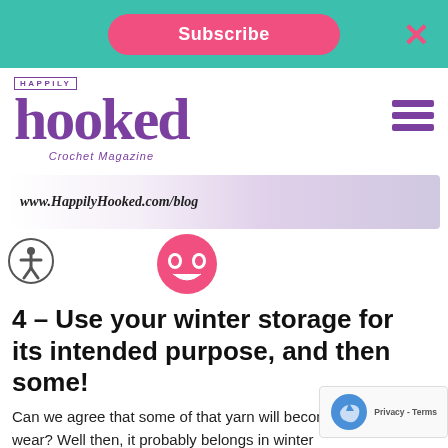Subscribe
[Figure (logo): Happily Hooked Crochet Magazine logo in purple]
[Figure (screenshot): Blog banner with www.HappilyHooked.com/blog text and purple yarn background]
[Figure (infographic): Accessibility icon (circle with person) and pink smiley face icon]
4 – Use your winter storage for its intended purpose, and then some!
Can we agree that some of that yarn will become weather wear? Well then, it probably belongs in winter